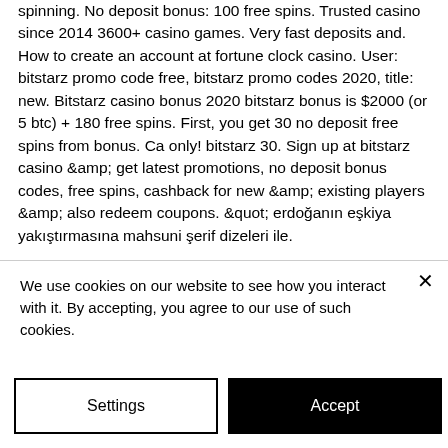spinning. No deposit bonus: 100 free spins. Trusted casino since 2014 3600+ casino games. Very fast deposits and. How to create an account at fortune clock casino. User: bitstarz promo code free, bitstarz promo codes 2020, title: new. Bitstarz casino bonus 2020 bitstarz bonus is $2000 (or 5 btc) + 180 free spins. First, you get 30 no deposit free spins from bonus. Ca only! bitstarz 30. Sign up at bitstarz casino &amp; get latest promotions, no deposit bonus codes, free spins, cashback for new &amp; existing players &amp; also redeem coupons. &quot; erdoğanın eşkiya yakıştırmasına mahsuni şerif dizeleri ile.
We use cookies on our website to see how you interact with it. By accepting, you agree to our use of such cookies.
Settings
Accept